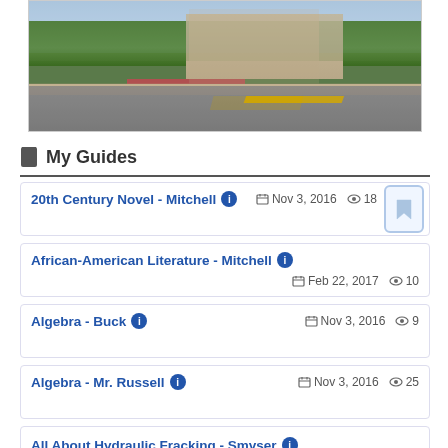[Figure (photo): Street-level photo of a campus or institutional building exterior with trees, sidewalk, and road visible]
My Guides
20th Century Novel - Mitchell  ℹ  Nov 3, 2016  👁 18
African-American Literature - Mitchell  ℹ  Feb 22, 2017  👁 10
Algebra - Buck  ℹ  Nov 3, 2016  👁 9
Algebra - Mr. Russell  ℹ  Nov 3, 2016  👁 25
All About Hydraulic Fracking - Smyser  ℹ